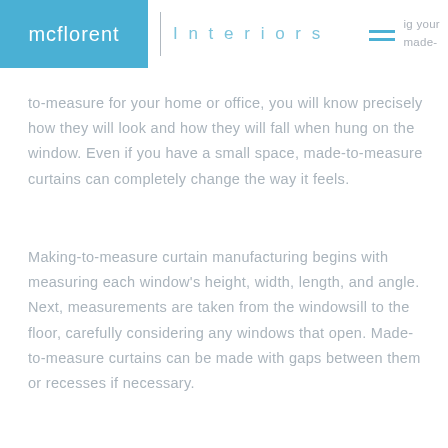mcflorent | Interiors
to-measure for your home or office, you will know precisely how they will look and how they will fall when hung on the window. Even if you have a small space, made-to-measure curtains can completely change the way it feels.
Making-to-measure curtain manufacturing begins with measuring each window's height, width, length, and angle. Next, measurements are taken from the windowsill to the floor, carefully considering any windows that open. Made-to-measure curtains can be made with gaps between them or recesses if necessary.